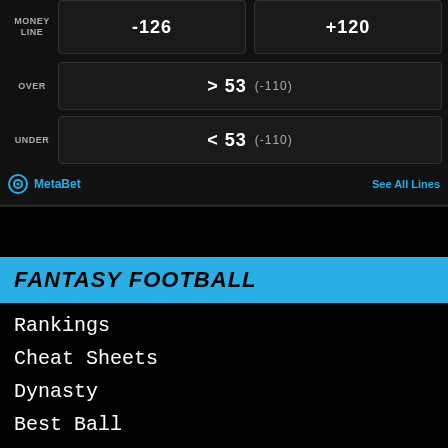MONEY LINE
-126
+120
OVER
> 53 (-110)
UNDER
< 53 (-110)
MetaBet
See All Lines
FANTASY FOOTBALL
Rankings
Cheat Sheets
Dynasty
Best Ball
Start Sit
Auction Values
APP